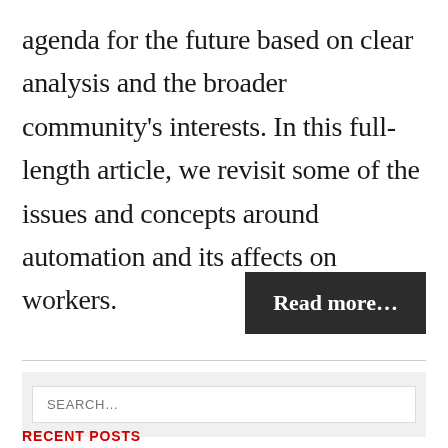agenda for the future based on clear analysis and the broader community's interests. In this full-length article, we revisit some of the issues and concepts around automation and its affects on workers.
Read more…
SEARCH…
RECENT POSTS